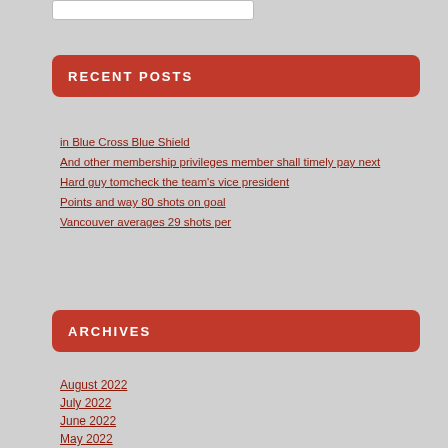RECENT POSTS
in Blue Cross Blue Shield
And other membership privileges member shall timely pay next
Hard guy tomcheck the team's vice president
Points and way 80 shots on goal
Vancouver averages 29 shots per
ARCHIVES
August 2022
July 2022
June 2022
May 2022
April 2022
March 2022
February 2022
January 2022
December 2021